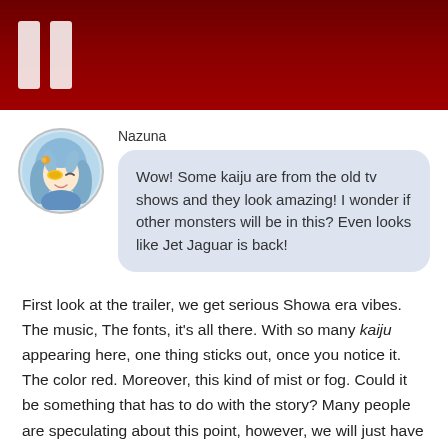[Figure (illustration): Dark red banner header with two white vertical pause-button bars on the left side]
[Figure (illustration): Anime-style avatar of a girl named Nazuna with blue hair and a yellow eye patch]
Nazuna
Wow! Some kaiju are from the old tv shows and they look amazing! I wonder if other monsters will be in this? Even looks like Jet Jaguar is back!
First look at the trailer, we get serious Showa era vibes. The music, The fonts, it's all there. With so many kaiju appearing here, one thing sticks out, once you notice it. The color red. Moreover, this kind of mist or fog. Could it be something that has to do with the story? Many people are speculating about this point, however, we will just have to wait until next year for the answer!